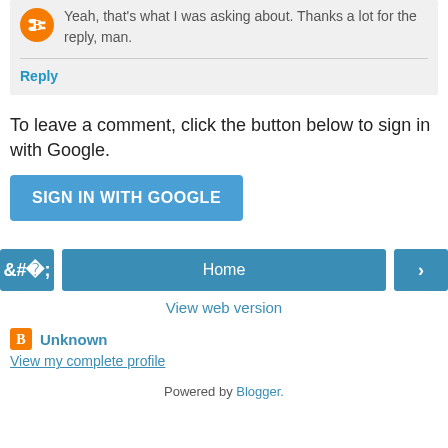Yeah, that's what I was asking about. Thanks a lot for the reply, man.
Reply
To leave a comment, click the button below to sign in with Google.
[Figure (other): Sign in with Google button]
[Figure (other): Navigation bar with left arrow, Home button, and right arrow]
View web version
Unknown
View my complete profile
Powered by Blogger.